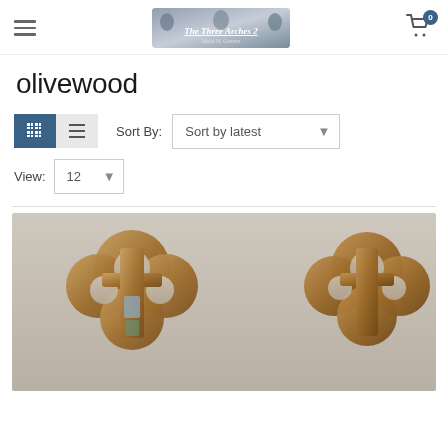[Figure (logo): The Three Arches 2 store logo with decorative figures]
olivewood
[Figure (screenshot): Product filter bar with grid/list view toggles, Sort By dropdown set to 'Sort by latest', and View dropdown set to 12]
[Figure (photo): Olivewood decorative cross/key-shaped items photographed on a light gray background]